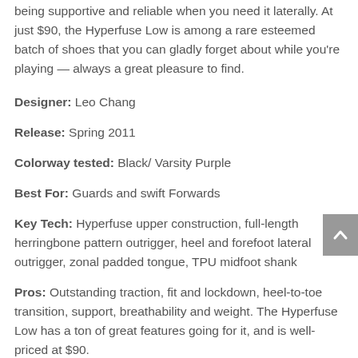being supportive and reliable when you need it laterally. At just $90, the Hyperfuse Low is among a rare esteemed batch of shoes that you can gladly forget about while you're playing — always a great pleasure to find.
Designer: Leo Chang
Release: Spring 2011
Colorway tested: Black/ Varsity Purple
Best For: Guards and swift Forwards
Key Tech: Hyperfuse upper construction, full-length herringbone pattern outrigger, heel and forefoot lateral outrigger, zonal padded tongue, TPU midfoot shank
Pros: Outstanding traction, fit and lockdown, heel-to-toe transition, support, breathability and weight. The Hyperfuse Low has a ton of great features going for it, and is well-priced at $90.